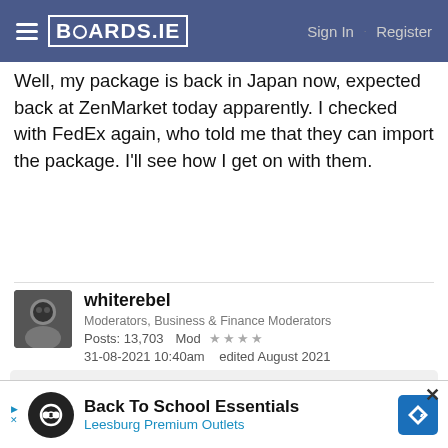BOARDS.IE  Sign In · Register
Well, my package is back in Japan now, expected back at ZenMarket today apparently. I checked with FedEx again, who told me that they can import the package. I'll see how I get on with them.
whiterebel
Moderators, Business & Finance Moderators
Posts: 13,703   Mod ★★★★
31-08-2021 10:40am   edited August 2021
dxhound2005  Aug 30, 2021
In another recent post, An Post are being quoted as saying Revenue are lying to customers.
Back To School Essentials
Leesburg Premium Outlets